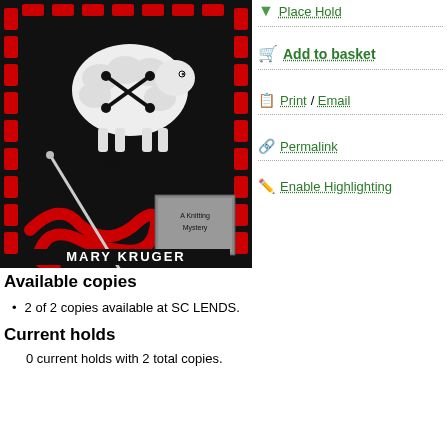[Figure (illustration): Book cover for 'Died in the Wool' by Mary Kruger. A Knitting Mystery. Black background with red border decoration. Shows a white sheep with crossbones symbol, a red knitting yarn snake with a knitting needle, and a small inset image labeled 'A Knitting Mystery'. Author name MARY KRUGER at the bottom in white text.]
Place Hold
Add to basket
Print / Email
Permalink
Enable Highlighting
Available copies
2 of 2 copies available at SC LENDS.
Current holds
0 current holds with 2 total copies.